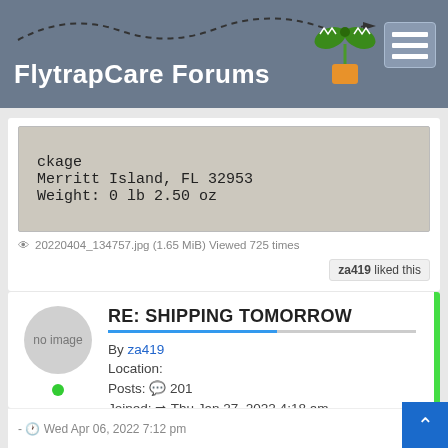FlytrapCare Forums
[Figure (photo): Partial view of a shipping label showing: ckage, Merritt Island, FL 32953, Weight: 0 lb 2.50 oz]
20220404_134757.jpg (1.65 MiB) Viewed 725 times
za419 liked this
RE: SHIPPING TOMORROW
By za419
Location:
Posts: 201
Joined: Thu Jan 27, 2022 4:18 am
- Wed Apr 06, 2022 7:12 pm  #40